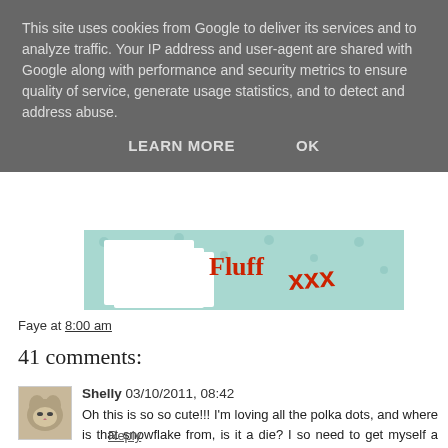This site uses cookies from Google to deliver its services and to analyze traffic. Your IP address and user-agent are shared with Google along with performance and security metrics to ensure quality of service, generate usage statistics, and to detect and address abuse.
LEARN MORE   OK
[Figure (illustration): Partial view of a Christmas/holiday greeting card with teal/mint polka dot background, white envelope shapes, and red text partially visible showing 'xxx' in handwritten style]
Faye at 8:00 am
41 comments:
Shelly 03/10/2011, 08:42
Oh this is so so cute!!! I'm loving all the polka dots, and where is that snowflake from, is it a die? I so need to get myself a big snowflake die thingy-ma-jig. And Fluff you are such a funny fluffster... hugs Shelly x
Reply